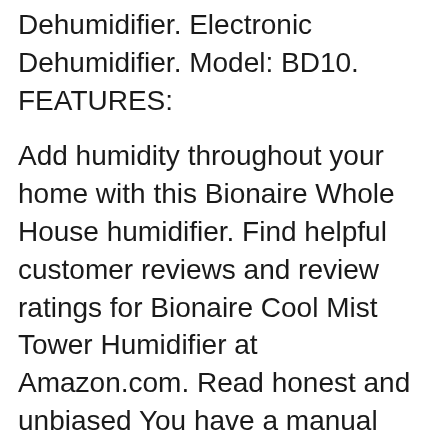Dehumidifier. Electronic Dehumidifier. Model: BD10. FEATURES:
Add humidity throughout your home with this Bionaire Whole House humidifier. Find helpful customer reviews and review ratings for Bionaire Cool Mist Tower Humidifier at Amazon.com. Read honest and unbiased You have a manual вЂ¦
Add humidity throughout your home with this Bionaire Whole House humidifier. bionaire humidifier. warranty information please click here Model no. BCM3955-U Size larger The Bionaire Ultrasonic Humidifier Ultrasonic